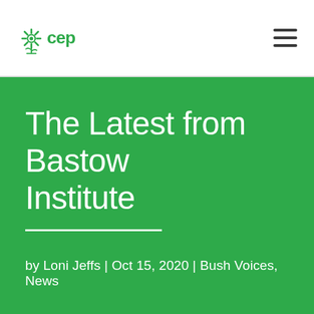CEP logo and navigation
The Latest from Bastow Institute
by Loni Jeffs | Oct 15, 2020 | Bush Voices, News